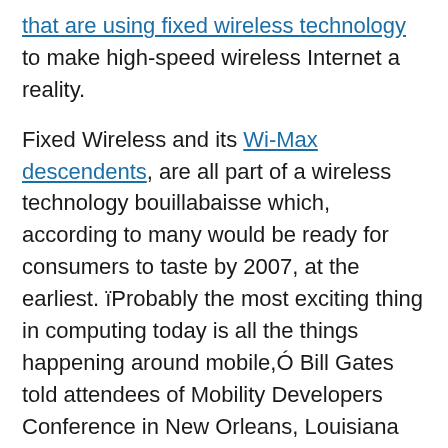that are using fixed wireless technology to make high-speed wireless Internet a reality.
Fixed Wireless and its Wi-Max descendents, are all part of a wireless technology bouillabaisse which, according to many would be ready for consumers to taste by 2007, at the earliest. ïProbably the most exciting thing in computing today is all the things happening around mobile,Ó Bill Gates told attendees of Mobility Developers Conference in New Orleans, Louisiana this past March. ïWi-Fi will explode and essentially be in most corporate environments, in most home environments, in all the locations where business people spend significant time, hotels, convention centers, airports, I think we can take that as a given. We'll have Bluetooth for short area connections. So Bluetooth, Wi-Fi, and the pervasive data networks and third generation approaches,Ó he said.